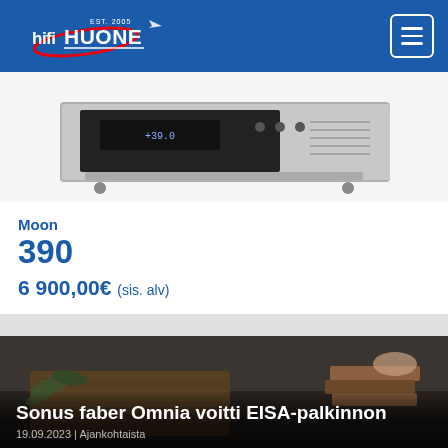HIFI HUONE
[Figure (photo): Silver and black audio component (Moon 390 network player/DAC) viewed from top angle, showing front panel with display and controls]
Moon
390
6 900,00€ (sis. alv)
[Figure (photo): Dark atmospheric photo showing a wooden speaker (Sonus faber Omnia) on a surface with a plant and stacked books in background, accompanying blog post about EISA award]
Sonus faber Omnia voitti EISA-palkinnon
19.09.2023 | Ajankohtaista